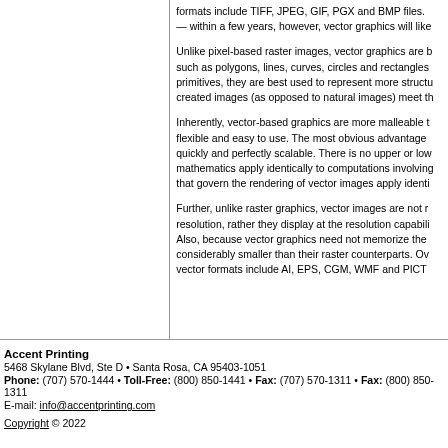formats include TIFF, JPEG, GIF, PGX and BMP files. — within a few years, however, vector graphics will like
Unlike pixel-based raster images, vector graphics are b such as polygons, lines, curves, circles and rectangles primitives, they are best used to represent more structu created images (as opposed to natural images) meet th
Inherently, vector-based graphics are more malleable t flexible and easy to use. The most obvious advantage quickly and perfectly scalable. There is no upper or low mathematics apply identically to computations involving that govern the rendering of vector images apply identi
Further, unlike raster graphics, vector images are not r resolution, rather they display at the resolution capabili Also, because vector graphics need not memorize the considerably smaller than their raster counterparts. Ov vector formats include AI, EPS, CGM, WMF and PICT
Accent Printing
5468 Skylane Blvd, Ste D • Santa Rosa, CA 95403-1051
Phone: (707) 570-1444 • Toll-Free: (800) 850-1441 • Fax: (707) 570-1311 • Fax: (800) 850-1311
E-mail: info@accentprinting.com
Copyright © 2022